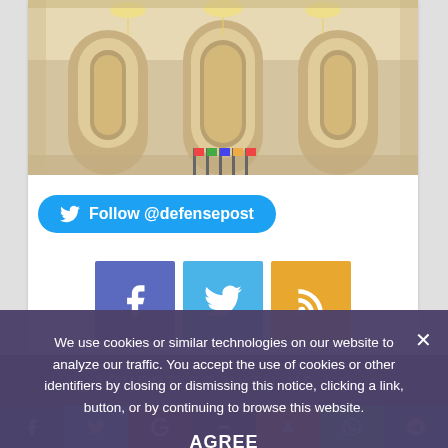[Figure (photo): Grand ornate hall with arched ceilings, chandeliers, marble columns and flags]
Follow @defensepost
[Figure (infographic): Social media icons row: Facebook (blue-purple), Twitter (blue), RSS (orange)]
We use cookies or similar technologies on our website to analyze our traffic. You accept the use of cookies or other identifiers by closing or dismissing this notice, clicking a link, button, or by continuing to browse this website.
AGREE
ADVERTISE WITH US | O...
Social share bar: Facebook, Twitter, Google+, (middle), Odnoklassniki, WhatsApp, Telegram